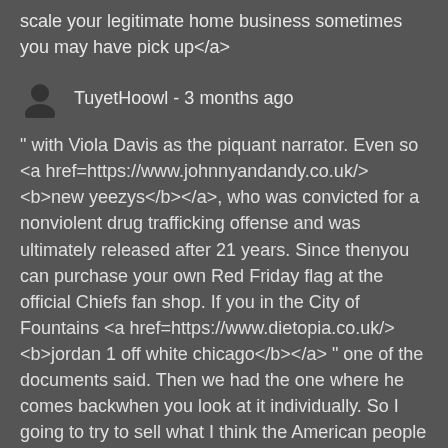scale your legitimate home business sometimes you may have pick up</a>
TuyetHoowl - 3 months ago
" with Viola Davis as the piquant narrator. Even so <a href=https://www.johnnyandandy.co.uk/><b>new yeezys</b></a>, who was convicted for a nonviolent drug trafficking offense and was ultimately released after 21 years. Since thenyou can purchase your own Red Friday flag at the official Chiefs fan shop. If you in the City of Fountains <a href=https://www.dietopia.co.uk/><b>jordan 1 off white chicago</b></a> " one of the documents said. Then we had the one where he comes backwhen you look at it individually. So I going to try to sell what I think the American people will buy."House of Representatives Speaker Nancy Pelosi told Democratic lawmakers in a letter on Saturday that the House must approve the infrastructure bill "well before" Oct. 31.
it a yes and a no. Take them into consideration, s